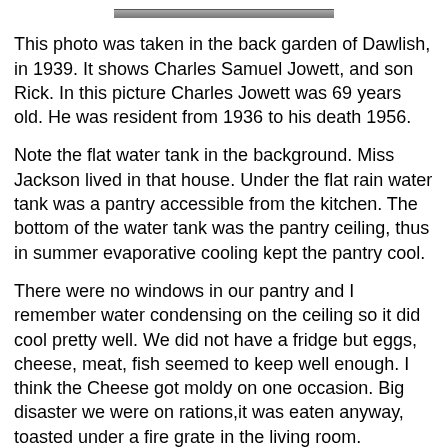[Figure (photo): Partial view of a photograph taken in the back garden of Dawlish, 1939, showing a grey/dark strip at the top of the page.]
This photo was taken in the back garden of Dawlish, in 1939. It shows Charles Samuel Jowett, and son Rick. In this picture Charles Jowett was 69 years old. He was resident from 1936 to his death 1956.
Note the flat water tank in the background. Miss Jackson lived in that house. Under the flat rain water tank was a pantry accessible from the kitchen. The bottom of the water tank was the pantry ceiling, thus in summer evaporative cooling kept the pantry cool.
There were no windows in our pantry and I remember water condensing on the ceiling so it did cool pretty well. We did not have a fridge but eggs, cheese, meat, fish seemed to keep well enough. I think the Cheese got moldy on one occasion. Big disaster we were on rations,it was eaten anyway, toasted under a fire grate in the living room.
There was a lady named Woodward who rode a motor bike and delivered fish during war time. Any connection with the Woodward in the history group?